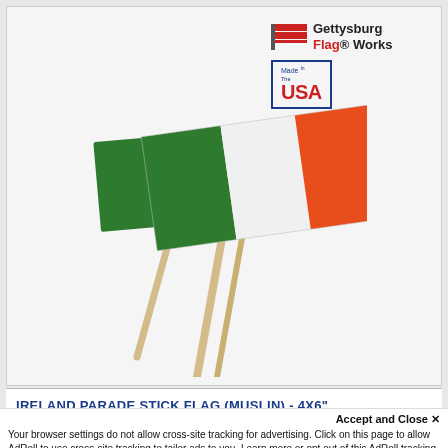[Figure (photo): Two Ireland tricolor parade stick flags (green, white, orange) on wooden sticks with Gettysburg Flag Works logo and Made in USA badge in top-right corner]
IRELAND PARADE STICK FLAG (MUSLIN) - 4X6"
Accept and Close ×
Your browser settings do not allow cross-site tracking for advertising. Click on this page to allow AdRoll to use cross-site tracking to tailor ads to you. Learn more or opt out of this AdRoll tracking by clicking here. This message only appears once.